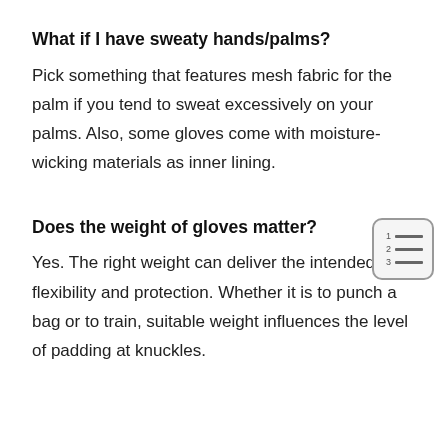What if I have sweaty hands/palms?
Pick something that features mesh fabric for the palm if you tend to sweat excessively on your palms. Also, some gloves come with moisture-wicking materials as inner lining.
Does the weight of gloves matter?
Yes. The right weight can deliver the intended flexibility and protection. Whether it is to punch a bag or to train, suitable weight influences the level of padding at knuckles.